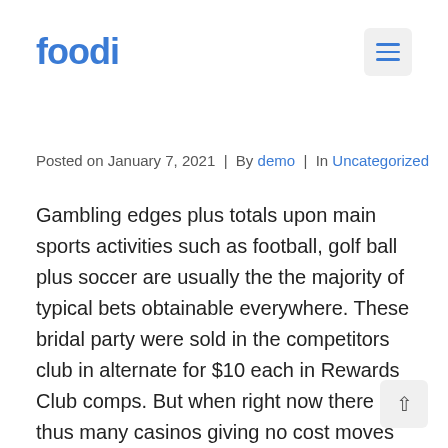foodi
Posted on January 7, 2021  |  By demo  |  In Uncategorized
Gambling edges plus totals upon main sports activities such as football, golf ball plus soccer are usually the the majority of typical bets obtainable everywhere. These bridal party were sold in the competitors club in alternate for $10 each in Rewards Club comps. But when right now there are thus many casinos giving no cost moves right now, navigating might come to be difficult. I'm seeking forwards to seeking roulette next period we reach the casinos. And put in the money you desire to carry out work with the sum deposited as credit rating through person then simply, which credit history through this